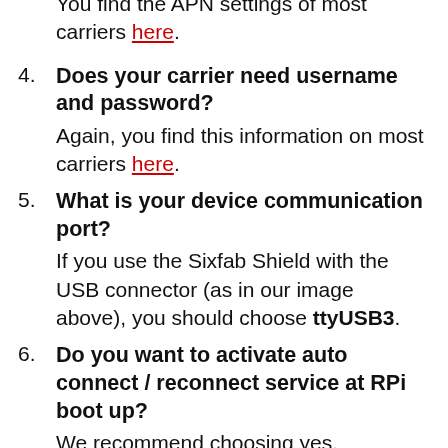You find the APN settings of most carriers here.
4. Does your carrier need username and password? Again, you find this information on most carriers here.
5. What is your device communication port? If you use the Sixfab Shield with the USB connector (as in our image above), you should choose ttyUSB3.
6. Do you want to activate auto connect / reconnect service at RPi boot up? We recommend choosing yes.
7. At the end of the installation